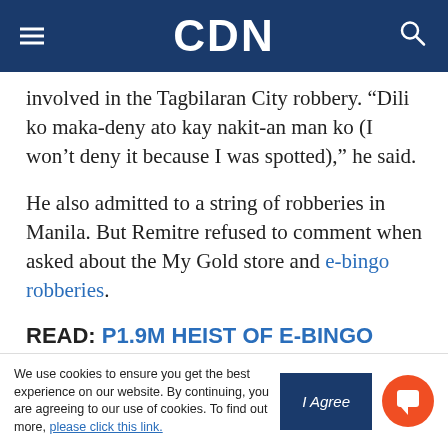CDN
involved in the Tagbilaran City robbery. “Dili ko maka-deny ato kay nakit-an man ko (I won’t deny it because I was spotted),” he said.
He also admitted to a string of robberies in Manila. But Remitre refused to comment when asked about the My Gold store and e-bingo robberies.
READ: P1.9M HEIST OF E-BINGO
“Dili lang ko mo comment ana, ang importante mo-cooperate sa imbestigasyon sa mga pulis (I won’t
We use cookies to ensure you get the best experience on our website. By continuing, you are agreeing to our use of cookies. To find out more, please click this link.